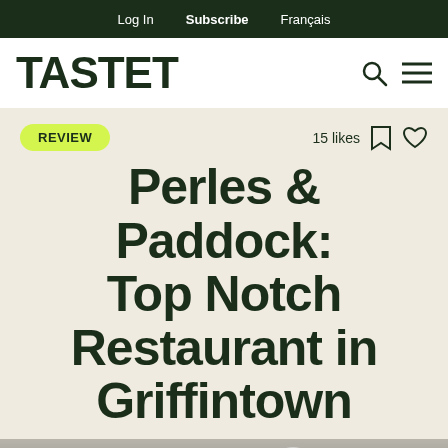Log In  Subscribe  Français
TASTET
REVIEW
15 likes
Perles & Paddock: Top Notch Restaurant in Griffintown
[Figure (photo): Interior ceiling of restaurant with multiple round ceiling lights, bright and airy atmosphere]